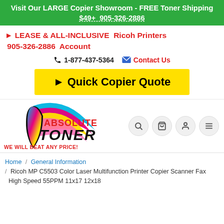Visit Our LARGE Copier Showroom - FREE Toner Shipping $49+ 905-326-2886
► LEASE & ALL-INCLUSIVE Ricoh Printers 905-326-2886 Account
📞 1-877-437-5364 ✉ Contact Us
► Quick Copier Quote
[Figure (logo): Absolute Toner logo with colorful swoosh (cyan, magenta, yellow, pink) and tagline WE WILL BEAT ANY PRICE!]
Home / General Information / Ricoh MP C5503 Color Laser Multifunction Printer Copier Scanner Fax High Speed 55PPM 11x17 12x18